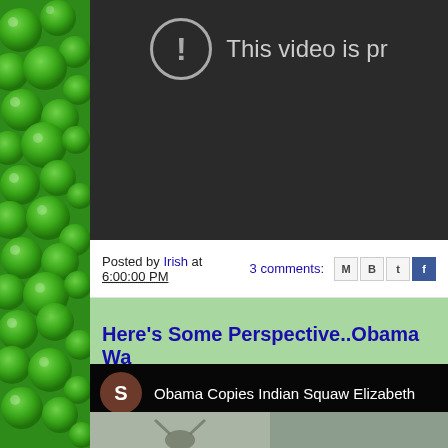[Figure (screenshot): Left decorative sidebar with green shamrock/clover pattern background]
[Figure (screenshot): Dark gray video player area showing an error/blocked message with exclamation circle icon and text 'This video is pr[ivate]']
Posted by Irish at 6:00:00 PM   3 comments:
Here's Some Perspective..Obama Wa[s]
[Figure (screenshot): Dark video player with channel avatar showing 'S' initial and title 'Obama Copies Indian Squaw Elizabeth' with video thumbnail below showing a person with arms raised]